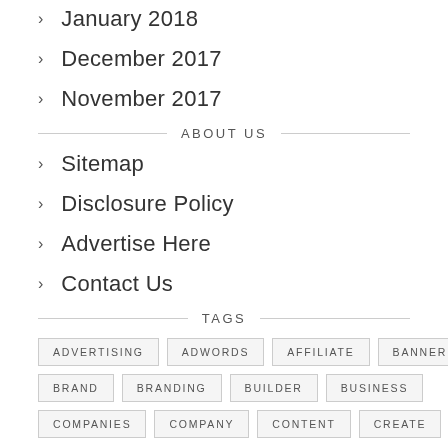January 2018
December 2017
November 2017
ABOUT US
Sitemap
Disclosure Policy
Advertise Here
Contact Us
TAGS
ADVERTISING
ADWORDS
AFFILIATE
BANNER
BRAND
BRANDING
BUILDER
BUSINESS
COMPANIES
COMPANY
CONTENT
CREATE